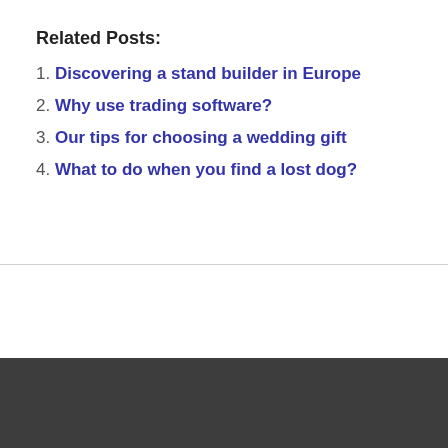Related Posts:
1. Discovering a stand builder in Europe
2. Why use trading software?
3. Our tips for choosing a wedding gift
4. What to do when you find a lost dog?
Search